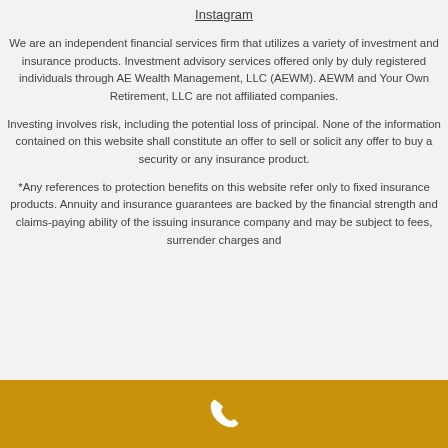Instagram
We are an independent financial services firm that utilizes a variety of investment and insurance products. Investment advisory services offered only by duly registered individuals through AE Wealth Management, LLC (AEWM). AEWM and Your Own Retirement, LLC are not affiliated companies.
Investing involves risk, including the potential loss of principal. None of the information contained on this website shall constitute an offer to sell or solicit any offer to buy a security or any insurance product.
*Any references to protection benefits on this website refer only to fixed insurance products. Annuity and insurance guarantees are backed by the financial strength and claims-paying ability of the issuing insurance company and may be subject to fees, surrender charges and
[Figure (other): Gold/tan footer bar with a white phone handset icon centered in it]